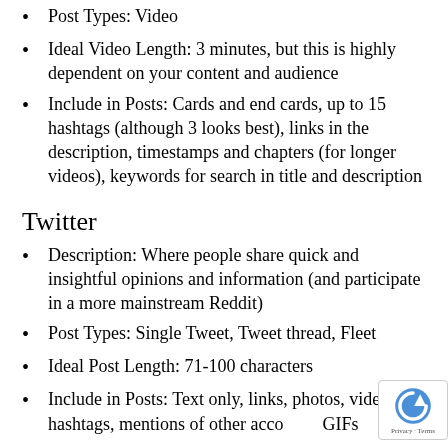Post Types: Video
Ideal Video Length: 3 minutes, but this is highly dependent on your content and audience
Include in Posts: Cards and end cards, up to 15 hashtags (although 3 looks best), links in the description, timestamps and chapters (for longer videos), keywords for search in title and description
Twitter
Description: Where people share quick and insightful opinions and information (and participate in a more mainstream Reddit)
Post Types: Single Tweet, Tweet thread, Fleet
Ideal Post Length: 71-100 characters
Include in Posts: Text only, links, photos, videos, 2 hashtags, mentions of other accounts, GIFs